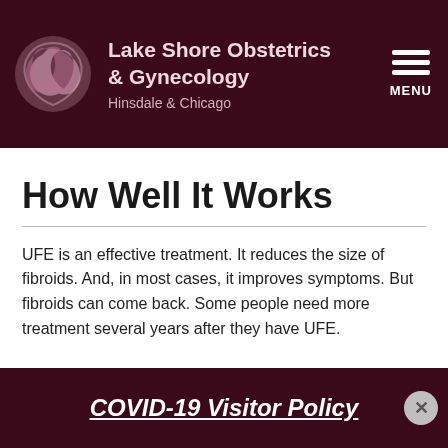Lake Shore Obstetrics & Gynecology Hinsdale & Chicago
How Well It Works
UFE is an effective treatment. It reduces the size of fibroids. And, in most cases, it improves symptoms. But fibroids can come back. Some people need more treatment several years after they have UFE.
COVID-19 Visitor Policy